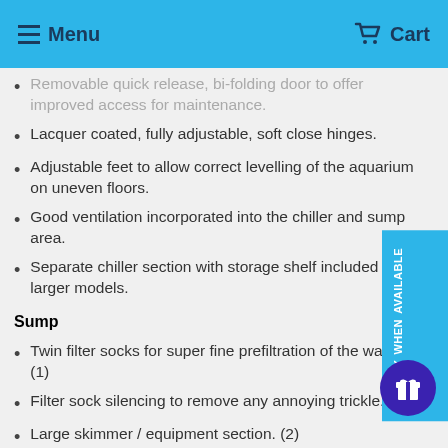Menu  Cart
Removable quick release, bi-folding door to offer improved access for maintenance.
Lacquer coated, fully adjustable, soft close hinges.
Adjustable feet to allow correct levelling of the aquarium on uneven floors.
Good ventilation incorporated into the chiller and sump area.
Separate chiller section with storage shelf included on larger models.
Sump
Twin filter socks for super fine prefiltration of the water. (1)
Filter sock silencing to remove any annoying trickle. (1)
Large skimmer / equipment section. (2)
Refugium section for caulerpa bed or for growing coral frags. (3)